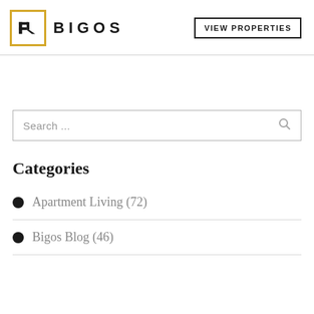BIGOS — VIEW PROPERTIES
[Figure (logo): Bigos logo: golden square border with stylized B/R monogram icon, followed by bold spaced text BIGOS]
Categories
Apartment Living (72)
Bigos Blog (46)